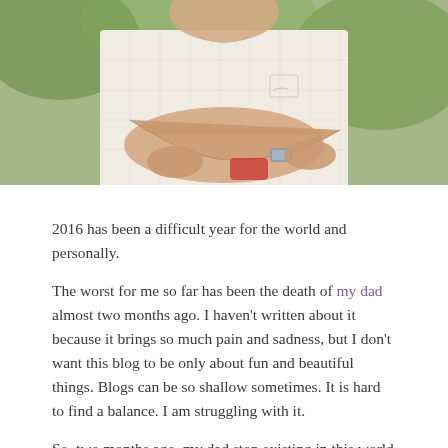[Figure (photo): Cropped photo showing an elderly man in a white checkered shirt with arms crossed, wearing a watch. Only the torso and hands are visible. Green foliage visible in background.]
2016 has been a difficult year for the world and personally.
The worst for me so far has been the death of my dad almost two months ago. I haven't written about it because it brings so much pain and sadness, but I don't want this blog to be only about fun and beautiful things. Blogs can be so shallow sometimes. It is hard to find a balance. I am struggling with it.
So, two months ago, my dad stop existing in this world and a little bit of my soul died with him. This strong feeling surprised me. I never thought I would be so affected. Please, don't misunderstand what I am saying. I left Chile 15 years ago for LA. Since then, my dad has been a distant geographical figure. We talked only once every